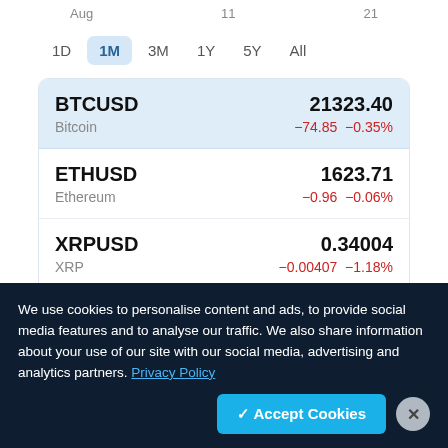Aug  11  21
1D  1M  3M  1Y  5Y  All
| Symbol | Name | Price | Change |
| --- | --- | --- | --- |
| BTCUSD | Bitcoin | 21323.40 | −74.85  −0.35% |
| ETHUSD | Ethereum | 1623.71 | −0.96  −0.06% |
| XRPUSD | XRP | 0.34004 | −0.00407  −1.18% |
| ADAUSD | Cardano | 0.460186 | −0.001677  −0.36% |
We use cookies to personalise content and ads, to provide social media features and to analyse our traffic. We also share information about your use of our site with our social media, advertising and analytics partners. Privacy Policy